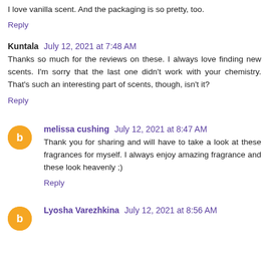I love vanilla scent. And the packaging is so pretty, too.
Reply
Kuntala  July 12, 2021 at 7:48 AM
Thanks so much for the reviews on these. I always love finding new scents. I'm sorry that the last one didn't work with your chemistry. That's such an interesting part of scents, though, isn't it?
Reply
melissa cushing  July 12, 2021 at 8:47 AM
Thank you for sharing and will have to take a look at these fragrances for myself. I always enjoy amazing fragrance and these look heavenly ;)
Reply
Lyosha Varezhkina  July 12, 2021 at 8:56 AM